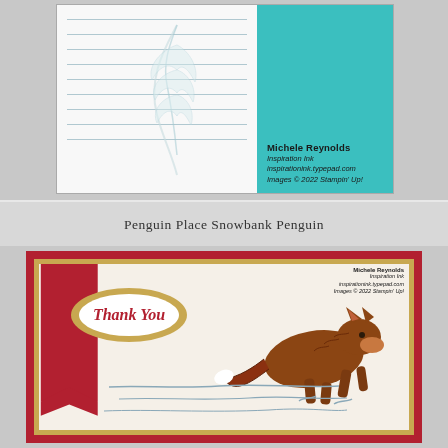[Figure (photo): Top crafting card image with ruled lines on left, teal info block on right with Michele Reynolds branding, and a feather/ribbon decoration overlaid]
Penguin Place Snowbank Penguin
[Figure (photo): Handmade greeting card with red border, gold inner border, white card face. Features a red ribbon banner on left with an oval 'Thank You' tag, and a stamped running fox in brown tones on snowy ground. Michele Reynolds / Inspiration Ink attribution in top right.]